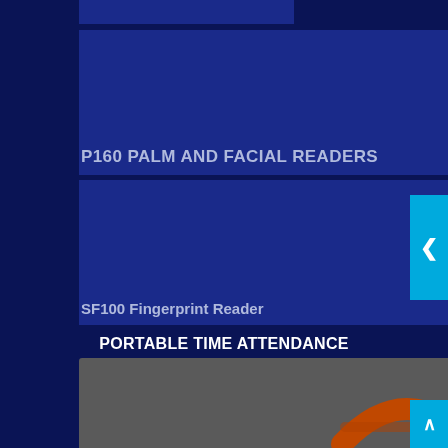[Figure (screenshot): Top partial blue card (cropped)]
P160 PALM AND FACIAL READERS
SF100 Fingerprint Reader
Supertime Software
PORTABLE TIME ATTENDANCE
[Figure (photo): Orange portable biometric time attendance device (TAS brand) with handle, touchscreen, fingerprint sensor, and keypad]
S922 Portable Biometric Reader